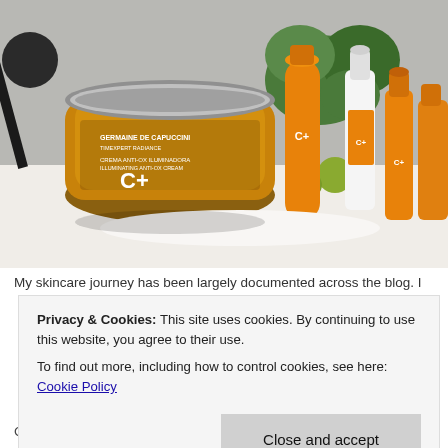[Figure (photo): Photo of Germaine de Capuccini Timexpert Radiance C+ skincare product range including a golden jar of Illuminating Anti-ox Cream, orange tube, and several orange serum/spray bottles on a white surface with green plant in background]
My skincare journey has been largely documented across the blog. I
Privacy & Cookies: This site uses cookies. By continuing to use this website, you agree to their use.
To find out more, including how to control cookies, see here: Cookie Policy
Close and accept
C+ range, which contains one of my favourite ingredients, vitamin C.